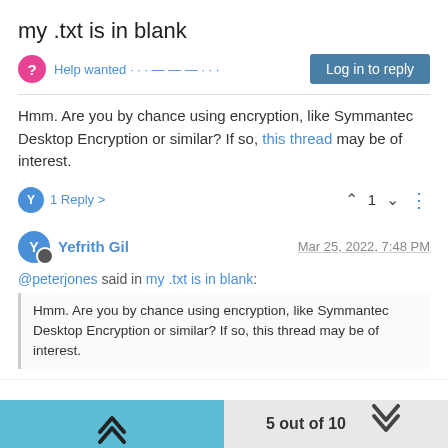my .txt is in blank
Help wanted · · · — — — · · ·
Log in to reply
Hmm. Are you by chance using encryption, like Symmantec Desktop Encryption or similar? If so, this thread may be of interest.
1 Reply >
1
Yefrith Gil
Mar 25, 2022, 7:48 PM
@peterjones said in my .txt is in blank:
Hmm. Are you by chance using encryption, like Symmantec Desktop Encryption or similar? If so, this thread may be of interest.
nope
5 out of 10